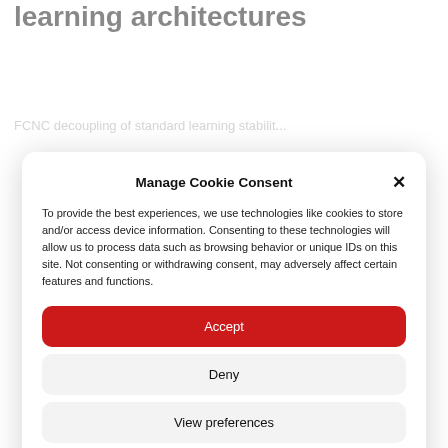learning architectures
FCNC decoupling of standard learning stabilit...
Manage Cookie Consent
To provide the best experiences, we use technologies like cookies to store and/or access device information. Consenting to these technologies will allow us to process data such as browsing behavior or unique IDs on this site. Not consenting or withdrawing consent, may adversely affect certain features and functions.
Accept
Deny
View preferences
Cookie Policy